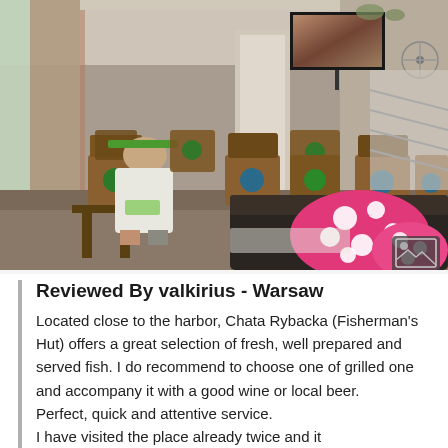[Figure (photo): Interior photo of a restaurant/cafe called Chata Rybacka (Fisherman's Hut) showing chairs with green accents, a TV on the wall, a person seated, and a dark sofa with pink polka dot pillows in the foreground.]
Reviewed By valkirius - Warsaw
Located close to the harbor, Chata Rybacka (Fisherman's Hut) offers a great selection of fresh, well prepared and served fish. I do recommend to choose one of grilled one and accompany it with a good wine or local beer.
Perfect, quick and attentive service.
I have visited the place already twice and it